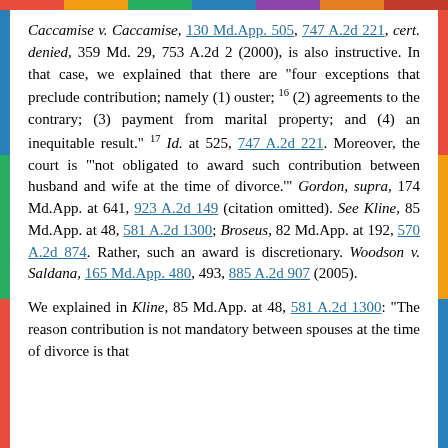Caccamise v. Caccamise, 130 Md.App. 505, 747 A.2d 221, cert. denied, 359 Md. 29, 753 A.2d 2 (2000), is also instructive. In that case, we explained that there are "four exceptions that preclude contribution; namely (1) ouster; 16 (2) agreements to the contrary; (3) payment from marital property; and (4) an inequitable result." 17 Id. at 525, 747 A.2d 221. Moreover, the court is "'not obligated to award such contribution between husband and wife at the time of divorce.'" Gordon, supra, 174 Md.App. at 641, 923 A.2d 149 (citation omitted). See Kline, 85 Md.App. at 48, 581 A.2d 1300; Broseus, 82 Md.App. at 192, 570 A.2d 874. Rather, such an award is discretionary. Woodson v. Saldana, 165 Md.App. 480, 493, 885 A.2d 907 (2005).
We explained in Kline, 85 Md.App. at 48, 581 A.2d 1300: "The reason contribution is not mandatory between spouses at the time of divorce is that